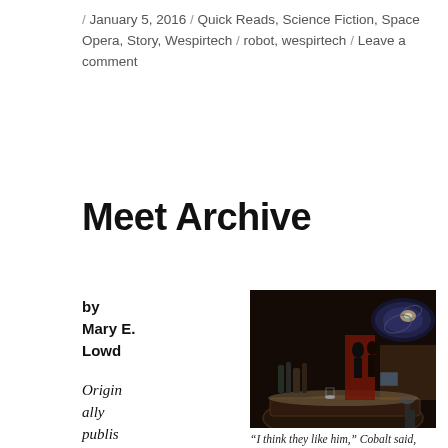/ January 5, 2016 / Quick Reads, Science Fiction, Space Opera, Story, Wespirtech / robot, wespirtech / Leave a comment
Meet Archive
by
Mary E. Lowd
Originally published in Rail...
[Figure (photo): Dark interior of a bar with a curved bar counter, bottles, and a spiral galaxy image on the upper right wall]
“I think they like him,” Cobalt said, taking an